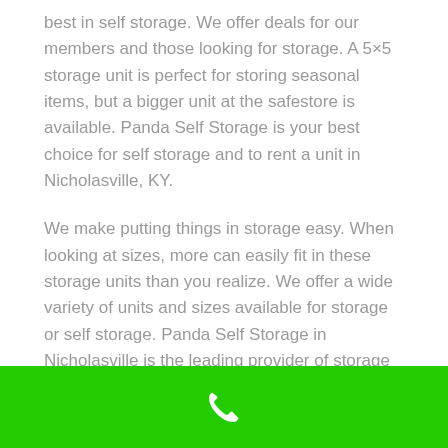best in self storage. We offer deals for our members and those looking for storage. A 5×5 storage unit is perfect for storing seasonal items, but a bigger unit at the safestore is available. Panda Self Storage is your best choice for self storage and to rent a unit in Nicholasville, KY.
We make putting things in storage easy. When looking at sizes, more can easily fit in these storage units than you realize. We offer a wide variety of units and sizes available for storage or self storage. Panda Self Storage in Nicholasville is the leading provider of storage units for your personal belongings. Looking for a storage unit cheap? We have a storage unit for your needs in your price range. Panda Self Storage units in Nicholasville, KY is your storage unit leader. Call & rent your unit today!
[Figure (other): Green footer bar with a white phone/call icon centered]